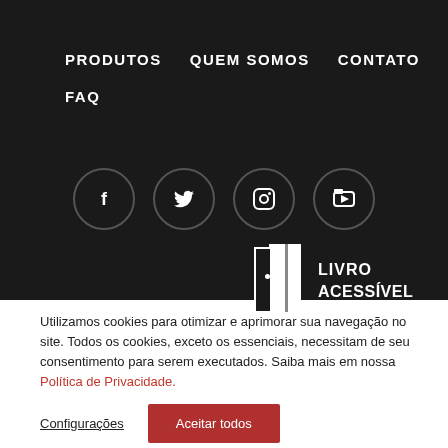PRODUTOS   QUEM SOMOS   CONTATO
FAQ
[Figure (illustration): Four social media icons in dark circles: Facebook (f), Twitter (bird), Instagram (camera), YouTube (play icon)]
[Figure (logo): Livro Acessível logo: white door icon with vertical bar, text LIVRO ACESSÍVEL in bold white uppercase]
Utilizamos cookies para otimizar e aprimorar sua navegação no site. Todos os cookies, exceto os essenciais, necessitam de seu consentimento para serem executados. Saiba mais em nossa Política de Privacidade.
Configurações   Aceitar todos